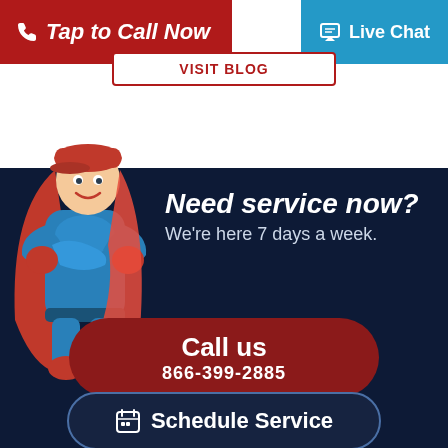[Figure (illustration): Superhero mascot character in blue suit with red cape and red cap, standing with arms crossed]
Tap to Call Now
Live Chat
VISIT BLOG
Need service now? We're here 7 days a week.
Call us 866-399-2885
Schedule Service